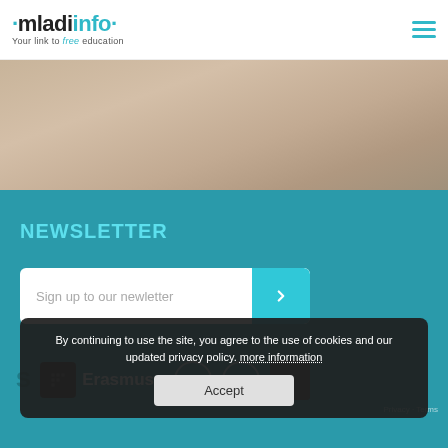[Figure (logo): MladiInfo logo with text 'Your link to free education']
[Figure (photo): Blurred beige/tan background hero image]
NEWSLETTER
[Figure (other): Email newsletter sign-up form with input field and cyan submit button with chevron]
[Figure (other): Footer section with Erasmus+ logo, Creative Commons icons, reCAPTCHA badge]
By continuing to use the site, you agree to the use of cookies and our updated privacy policy. more information
Accept